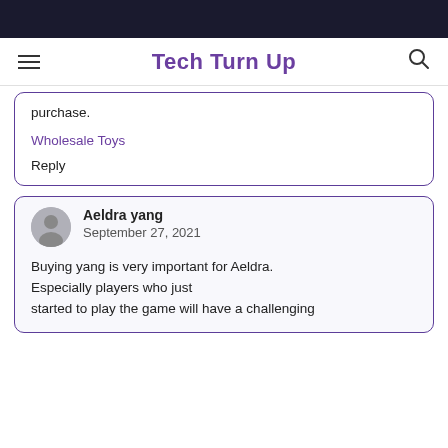Tech Turn Up
purchase.
Wholesale Toys
Reply
Aeldra yang
September 27, 2021
Buying yang is very important for Aeldra. Especially players who just started to play the game will have a challenging